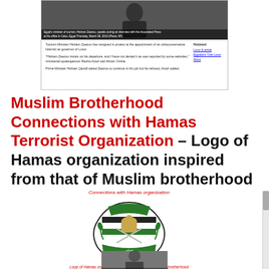[Figure (screenshot): News article screenshot showing Egypt's tourism minister Hisham Zaazou speaking, with text about his resignation and a 'Related' sidebar with links.]
Muslim Brotherhood Connections with Hamas Terrorist Organization – Logo of Hamas organization inspired from that of Muslim brotherhood
[Figure (illustration): Hamas organization logo showing green and black emblem with dome, swords, and Arabic text, with caption 'Connections with Hamas organization' above and 'Logo of Hamas organisation inspired from that of Muslimbrotherhood' below.]
[Figure (photo): Partial photo visible at the bottom of the page.]